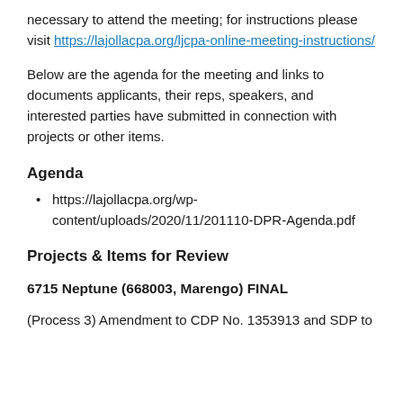necessary to attend the meeting; for instructions please visit https://lajollacpa.org/ljcpa-online-meeting-instructions/
Below are the agenda for the meeting and links to documents applicants, their reps, speakers, and interested parties have submitted in connection with projects or other items.
Agenda
https://lajollacpa.org/wp-content/uploads/2020/11/201110-DPR-Agenda.pdf
Projects & Items for Review
6715 Neptune (668003, Marengo) FINAL
(Process 3) Amendment to CDP No. 1353913 and SDP to